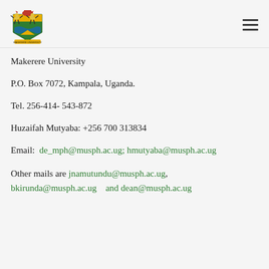[Figure (logo): Makerere University coat of arms / crest logo with birds and shield]
Makerere University
P.O. Box 7072, Kampala, Uganda.
Tel. 256-414- 543-872
Huzaifah Mutyaba: +256 700 313834
Email: de_mph@musph.ac.ug; hmutyaba@musph.ac.ug
Other mails are jnamutundu@musph.ac.ug, bkirunda@musph.ac.ug   and dean@musph.ac.ug